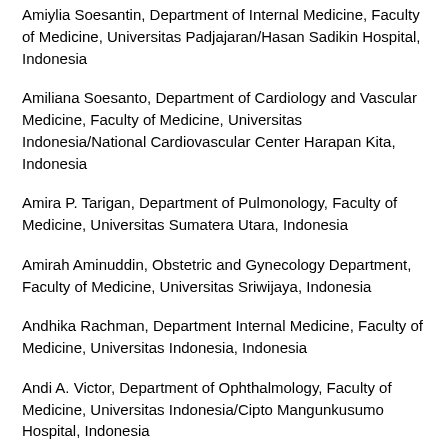Amiylia Soesantin, Department of Internal Medicine, Faculty of Medicine, Universitas Padjajaran/Hasan Sadikin Hospital, Indonesia
Amiliana Soesanto, Department of Cardiology and Vascular Medicine, Faculty of Medicine, Universitas Indonesia/National Cardiovascular Center Harapan Kita, Indonesia
Amira P. Tarigan, Department of Pulmonology, Faculty of Medicine, Universitas Sumatera Utara, Indonesia
Amirah Aminuddin, Obstetric and Gynecology Department, Faculty of Medicine, Universitas Sriwijaya, Indonesia
Andhika Rachman, Department Internal Medicine, Faculty of Medicine, Universitas Indonesia, Indonesia
Andi A. Victor, Department of Ophthalmology, Faculty of Medicine, Universitas Indonesia/Cipto Mangunkusumo Hospital, Indonesia